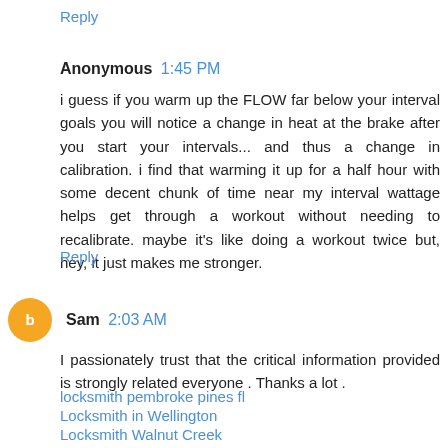Reply
Anonymous  1:45 PM
i guess if you warm up the FLOW far below your interval goals you will notice a change in heat at the brake after you start your intervals... and thus a change in calibration. i find that warming it up for a half hour with some decent chunk of time near my interval wattage helps get through a workout without needing to recalibrate. maybe it's like doing a workout twice but, hey, it just makes me stronger.
Reply
Sam  2:03 AM
I passionately trust that the critical information provided is strongly related everyone . Thanks a lot .
locksmith pembroke pines fl
Locksmith in Wellington
Locksmith Walnut Creek
Locksmith Santa Clara